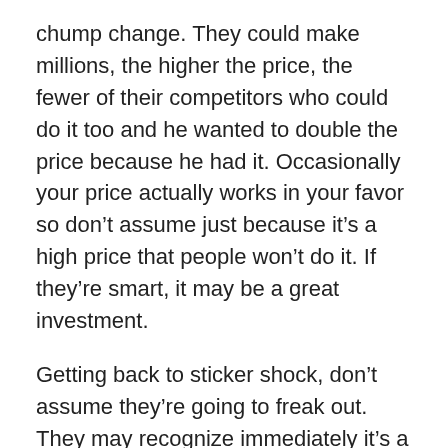chump change. They could make millions, the higher the price, the fewer of their competitors who could do it too and he wanted to double the price because he had it. Occasionally your price actually works in your favor so don't assume just because it's a high price that people won't do it. If they're smart, it may be a great investment.
Getting back to sticker shock, don't assume they're going to freak out. They may recognize immediately it's a great investment but there are three things you can do real quick and then we'll move onto your objections. Anchoring is one, anchoring says that the first number you always give is higher. In this redwood tree example they ask people what's the height of the tallest redwood, if they said it's taller